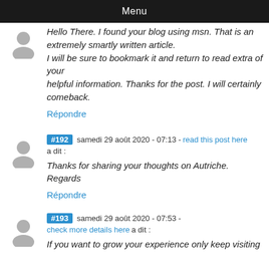Menu
Hello There. I found your blog using msn. That is an extremely smartly written article.
I will be sure to bookmark it and return to read extra of your
helpful information. Thanks for the post. I will certainly comeback.
Répondre
#192 samedi 29 août 2020 - 07:13 - read this post here a dit :
Thanks for sharing your thoughts on Autriche.
Regards
Répondre
#193 samedi 29 août 2020 - 07:53 - check more details here a dit :
If you want to grow your experience only keep visiting